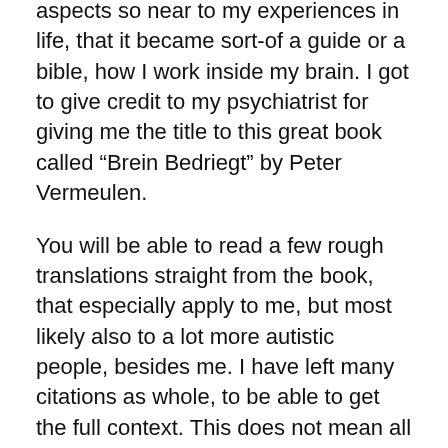aspects so near to my experiences in life, that it became sort-of a guide or a bible, how I work inside my brain. I got to give credit to my psychiatrist for giving me the title to this great book called “Brein Bedriegt” by Peter Vermeulen.
You will be able to read a few rough translations straight from the book, that especially apply to me, but most likely also to a lot more autistic people, besides me. I have left many citations as whole, to be able to get the full context. This does not mean all the details in that citation will all apply upon me or any other person with autism. There are so many variants of autism and comorbidities, giving different results and behaviors.
If you are having autism or you are connected